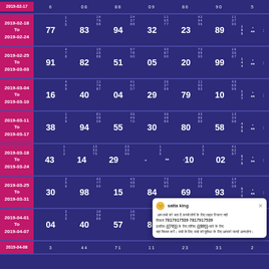| Date | Num1 | Num2 | Num3 | Num4 | Num5 | Num6 | Extra |
| --- | --- | --- | --- | --- | --- | --- | --- |
| 2019-02-17 | 6 | 0 8 | 8 8 | 0 9 | 8 6 | 9 0 | 5 |
| 2019-02-18 To 2019-02-24 | 77 | 83 | 94 | 32 | 23 | 89 | ** |
| 2019-02-25 To 2019-03-03 | 91 | 82 | 51 | 05 | 20 | 99 | ** |
| 2019-03-04 To 2019-03-10 | 16 | 40 | 04 | 29 | 79 | 10 | ** |
| 2019-03-11 To 2019-03-17 | 38 | 94 | 55 | 30 | 80 | 58 | ** |
| 2019-03-18 To 2019-03-24 | 43 | 14 | 29 | ** | 10 | 02 | ** |
| 2019-03-25 To 2019-03-31 | 30 | 98 | 15 | 84 | 69 | 93 | ** |
| 2019-04-01 To 2019-04-07 | 04 | 40 | 57 | 80 |  |  |  |
| 2019-04-08 | 3 | 4 4 | 7 1 | 1 1 | 2 3 | 3 1 | 2 |